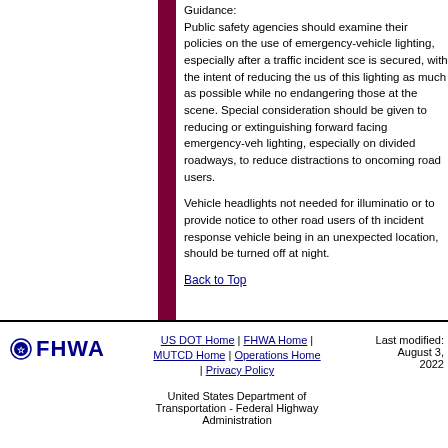Guidance:
Public safety agencies should examine their policies on the use of emergency-vehicle lighting, especially after a traffic incident scene is secured, with the intent of reducing the use of this lighting as much as possible while not endangering those at the scene. Special consideration should be given to reducing or extinguishing forward facing emergency-vehicle lighting, especially on divided roadways, to reduce distractions to oncoming road users.
Vehicle headlights not needed for illumination or to provide notice to other road users of the incident response vehicle being in an unexpected location, should be turned off at night.
Back to Top
US DOT Home | FHWA Home | MUTCD Home | Operations Home | Privacy Policy
United States Department of Transportation - Federal Highway Administration
Last modified: August 3, 2022